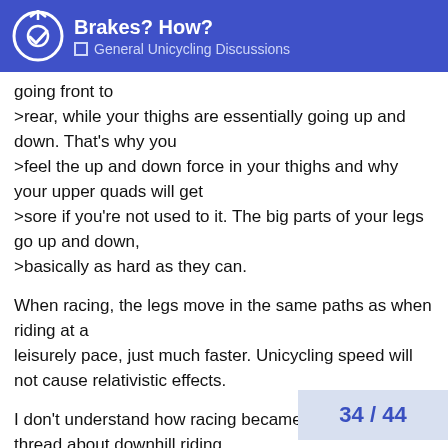Brakes? How? — General Unicycling Discussions
going front to
>rear, while your thighs are essentially going up and down. That's why you
>feel the up and down force in your thighs and why your upper quads will get
>sore if you're not used to it. The big parts of your legs go up and down,
>basically as hard as they can.
When racing, the legs move in the same paths as when riding at a
leisurely pace, just much faster. Unicycling speed will not cause relativistic effects.
I don't understand how racing became a topic in a thread about downhill riding.
>> Steepness of the trial will not affect the increase in tire
>> contact area (more traction) that a hea
34 / 44